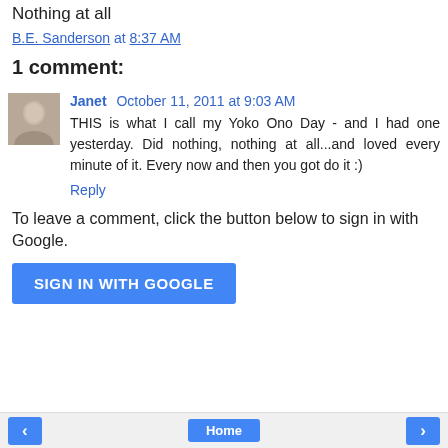Nothing at all
B.E. Sanderson at 8:37 AM
1 comment:
Janet October 11, 2011 at 9:03 AM
THIS is what I call my Yoko Ono Day - and I had one yesterday. Did nothing, nothing at all...and loved every minute of it. Every now and then you got do it :)
Reply
To leave a comment, click the button below to sign in with Google.
SIGN IN WITH GOOGLE
Home